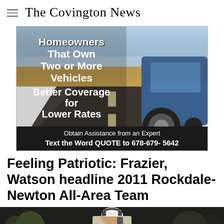The Covington News
[Figure (infographic): Insurance advertisement: Homeowners That Own Two or More Vehicles - Better Coverage for Lower Rates. Obtain Assistance from an Expert. Text the Word QUOTE to 678-679-5642. Background shows a road with a blue car.]
Feeling Patriotic: Frazier, Watson headline 2011 Rockdale-Newton All-Area Team
[Figure (photo): Photo of a football coach wearing a white visor and headset, on the sideline]